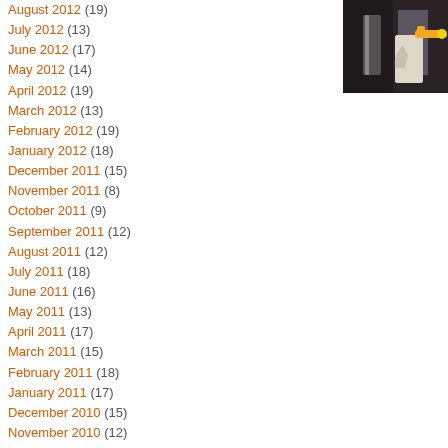August 2012 (19)
July 2012 (13)
June 2012 (17)
May 2012 (14)
April 2012 (19)
March 2012 (13)
February 2012 (19)
January 2012 (18)
December 2011 (15)
November 2011 (8)
October 2011 (9)
September 2011 (12)
August 2011 (12)
July 2011 (18)
June 2011 (16)
May 2011 (13)
April 2011 (17)
March 2011 (15)
February 2011 (18)
January 2011 (17)
December 2010 (15)
November 2010 (12)
October 2010 (16)
September 2010 (14)
August 2010 (14)
July 2010 (18)
[Figure (photo): A spray bottle with orange/yellow nozzle against a dark background]
Matt looks for the tin side of float gla
The production of the wall of c will take place thru the spring.
Posted in matthew duffy, safeway
“COLOR AND SHAPE” AT CI
Posted on January 28, 2011 by Erwin Timmers |
>